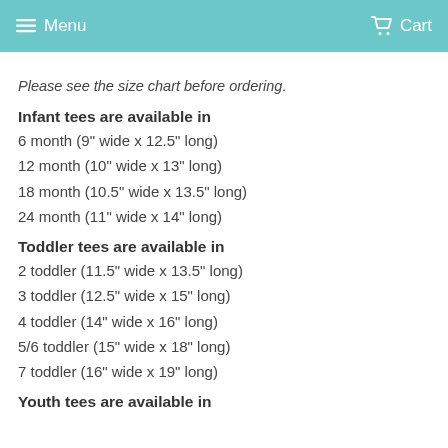Menu  Cart
Please see the size chart before ordering.
Infant tees are available in
6 month (9" wide x 12.5" long)
12 month (10" wide x 13" long)
18 month (10.5" wide x 13.5" long)
24 month (11" wide x 14" long)
Toddler tees are available in
2 toddler (11.5" wide x 13.5" long)
3 toddler (12.5" wide x 15" long)
4 toddler (14" wide x 16" long)
5/6 toddler (15" wide x 18" long)
7 toddler (16" wide x 19" long)
Youth tees are available in